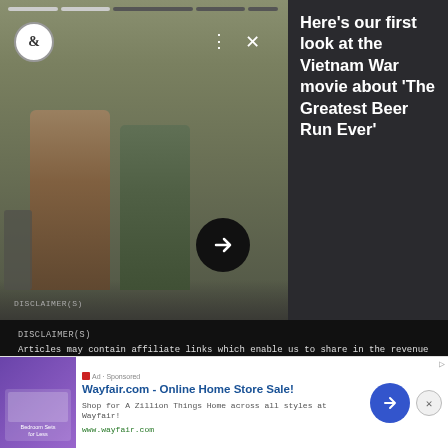[Figure (screenshot): Movie still from 'The Greatest Beer Run Ever' showing two men in Vietnam War-era setting, one handing something to the other. Video player UI with progress bar, logo, dots menu, close button, and arrow navigation button overlay.]
Here's our first look at the Vietnam War movie about 'The Greatest Beer Run Ever'
DISCLAIMER(S)
Articles may contain affiliate links which enable us to share in the revenue of any purchases made.
Registration on or use of this site constitutes acceptance of our Terms of Service.
© 2022 Recurrent. All rights reserved.
[Figure (screenshot): Wayfair.com advertisement banner. Shows thumbnail of bedroom furniture with purple background, ad title 'Wayfair.com - Online Home Store Sale!', description 'Shop for A Zillion Things Home across all styles at Wayfair!', URL www.wayfair.com, blue forward arrow button, and close button.]